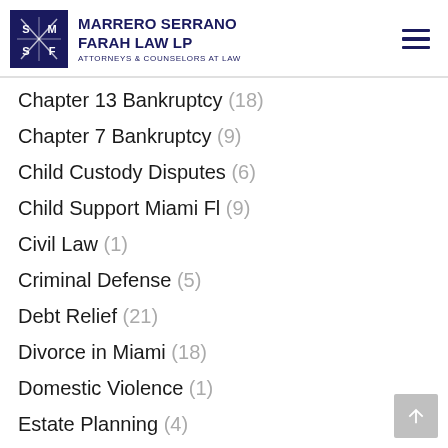MARRERO SERRANO FARAH LAW LP — ATTORNEYS & COUNSELORS AT LAW
Chapter 13 Bankruptcy (18)
Chapter 7 Bankruptcy (9)
Child Custody Disputes (6)
Child Support Miami Fl (9)
Civil Law (1)
Criminal Defense (5)
Debt Relief (21)
Divorce in Miami (18)
Domestic Violence (1)
Estate Planning (4)
Eviction (1)
Family Law (8)
Florida Wage Garnishments (2)